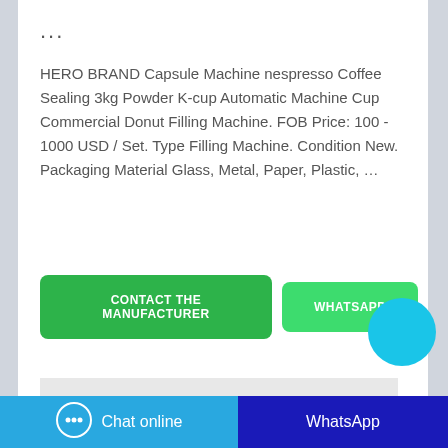...
HERO BRAND Capsule Machine nespresso Coffee Sealing 3kg Powder K-cup Automatic Machine Cup Commercial Donut Filling Machine. FOB Price: 100 - 1000 USD / Set. Type Filling Machine. Condition New. Packaging Material Glass, Metal, Paper, Plastic, …
[Figure (screenshot): Two buttons: 'CONTACT THE MANUFACTURER' (dark green) and 'WHATSAPP' (light green), with a cyan circle partially overlapping the right edge]
[Figure (photo): Partial product image strip showing an orange object on a grey background]
Chat online | WhatsApp